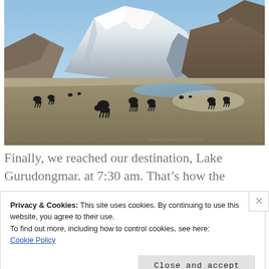[Figure (photo): Landscape photograph of Lake Gurudongmar showing snow-capped mountains in the background, a high-altitude plain with yaks grazing, and a small lake or river in the middle distance. Watermark text partially visible in bottom right corner.]
Finally, we reached our destination, Lake Gurudongmar. at 7:30 am. That’s how the
Privacy & Cookies: This site uses cookies. By continuing to use this website, you agree to their use.
To find out more, including how to control cookies, see here:
Cookie Policy
Close and accept